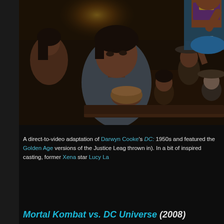[Figure (illustration): Animated scene from a DC animated movie showing anime-style characters in what appears to be a tavern or bar setting. A dark-haired male character in the foreground holds a bowl, with several other characters behind him including a woman in a blue and purple superhero costume (Wonder Woman) in the background upper right.]
A direct-to-video adaptation of Darwyn Cooke's DC: 1950s and featured the Golden Age versions of the Justice League thrown in). In a bit of inspired casting, former Xena star Lucy La
Mortal Kombat vs. DC Universe (2008)